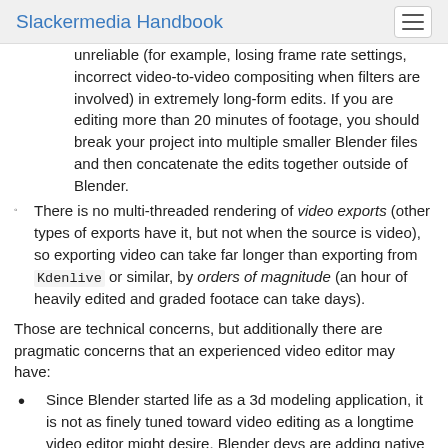Slackermedia Handbook
unreliable (for example, losing frame rate settings, incorrect video-to-video compositing when filters are involved) in extremely long-form edits. If you are editing more than 20 minutes of footage, you should break your project into multiple smaller Blender files and then concatenate the edits together outside of Blender.
There is no multi-threaded rendering of video exports (other types of exports have it, but not when the source is video), so exporting video can take far longer than exporting from Kdenlive or similar, by orders of magnitude (an hour of heavily edited and graded footace can take days).
Those are technical concerns, but additionally there are pragmatic concerns that an experienced video editor may have:
Since Blender started life as a 3d modeling application, it is not as finely tuned toward video editing as a longtime video editor might desire. Blender devs are adding native features